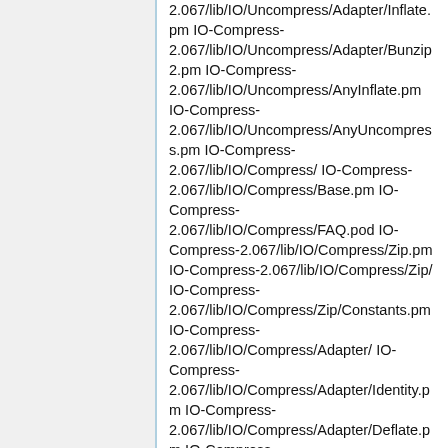2.067/lib/IO/Uncompress/Adapter/Inflate.pm IO-Compress-2.067/lib/IO/Uncompress/Adapter/Bunzip2.pm IO-Compress-2.067/lib/IO/Uncompress/AnyInflate.pm IO-Compress-2.067/lib/IO/Uncompress/AnyUncompress.pm IO-Compress-2.067/lib/IO/Compress/ IO-Compress-2.067/lib/IO/Compress/Base.pm IO-Compress-2.067/lib/IO/Compress/FAQ.pod IO-Compress-2.067/lib/IO/Compress/Zip.pm IO-Compress-2.067/lib/IO/Compress/Zip/ IO-Compress-2.067/lib/IO/Compress/Zip/Constants.pm IO-Compress-2.067/lib/IO/Compress/Adapter/ IO-Compress-2.067/lib/IO/Compress/Adapter/Identity.pm IO-Compress-2.067/lib/IO/Compress/Adapter/Deflate.pm IO-Compress-2.067/lib/IO/Compress/Adapter/Bzip2.pm IO-Compress-2.067/lib/IO/Compress/RawDeflate.pm IO-Compress-